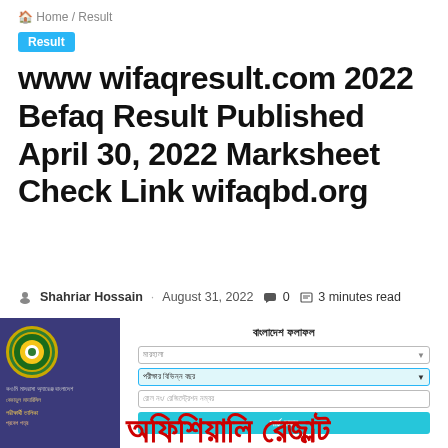🏠 Home / Result
Result
www wifaqresult.com 2022 Befaq Result Published April 30, 2022 Marksheet Check Link wifaqbd.org
Shahriar Hossain · August 31, 2022 💬 0 🔖 3 minutes read
[Figure (screenshot): Screenshot of Befaq result check portal with a dark blue sidebar showing an emblem and Bengali text, and a white form area with dropdowns, text input, and a teal submit button. Below is Bengali text in red reading 'অফিশিয়ালি রেজাল্ট'.]